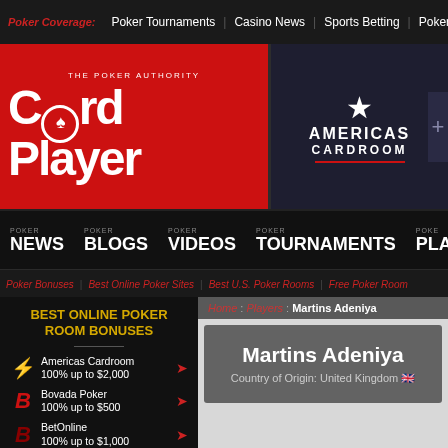Poker Coverage: Poker Tournaments | Casino News | Sports Betting | Poker
[Figure (logo): CardPlayer - The Poker Authority logo on red background]
[Figure (logo): Americas Cardroom logo on dark background]
POKER NEWS | POKER BLOGS | POKER VIDEOS | POKER TOURNAMENTS | PLA...
Poker Bonuses | Best Online Poker Sites | Best U.S. Poker Rooms | Free Poker Room
BEST ONLINE POKER ROOM BONUSES
Americas Cardroom 100% up to $2,000
Bovada Poker 100% up to $500
BetOnline 100% up to $1,000
Home : Players : Martins Adeniya
Martins Adeniya
Country of Origin: United Kingdom 🇬🇧